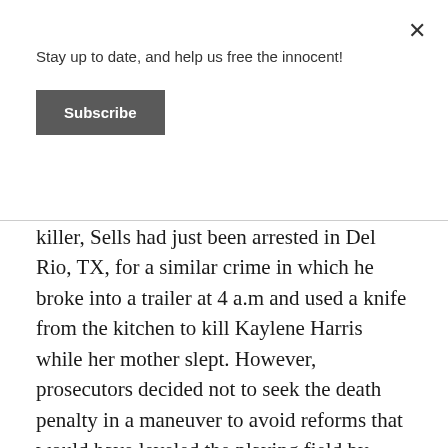Stay up to date, and help us free the innocent!
Subscribe
killer, Sells had just been arrested in Del Rio, TX, for a similar crime in which he broke into a trailer at 4 a.m and used a knife from the kitchen to kill Kaylene Harris while her mother slept. However, prosecutors decided not to seek the death penalty in a maneuver to avoid reforms that would have leveled the playing field by providing Julie's defense with financial resources to investigate her innocence prior to trial. After Julie was convicted in March of 2002, Diane Fanning